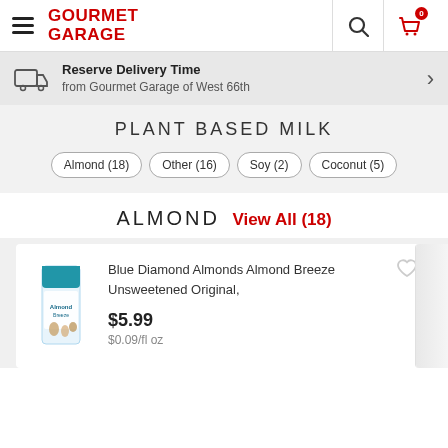GOURMET GARAGE
Reserve Delivery Time from Gourmet Garage of West 66th
PLANT BASED MILK
Almond (18)
Other (16)
Soy (2)
Coconut (5)
ALMOND  View All (18)
Blue Diamond Almonds Almond Breeze Unsweetened Original,
$5.99
$0.09/fl oz